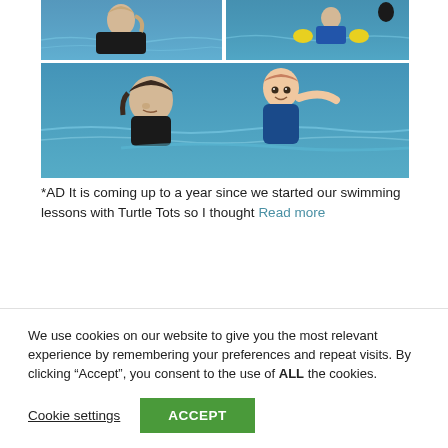[Figure (photo): Collage of swimming lesson photos: top row shows two images (left: adult woman in pool, right: child with yellow floats in pool), bottom: large image of woman holding baby in swimming pool]
*AD It is coming up to a year since we started our swimming lessons with Turtle Tots so I thought Read more
We use cookies on our website to give you the most relevant experience by remembering your preferences and repeat visits. By clicking “Accept”, you consent to the use of ALL the cookies.